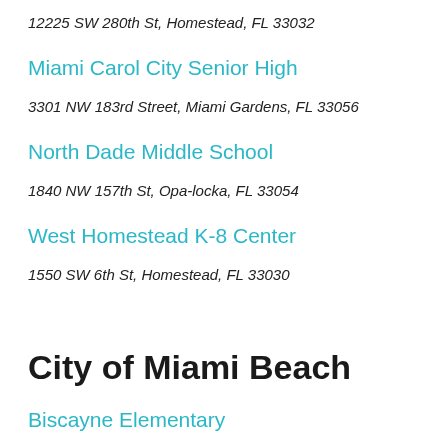12225 SW 280th St, Homestead, FL 33032
Miami Carol City Senior High
3301 NW 183rd Street, Miami Gardens, FL 33056
North Dade Middle School
1840 NW 157th St, Opa-locka, FL 33054
West Homestead K-8 Center
1550 SW 6th St, Homestead, FL 33030
City of Miami Beach
Biscayne Elementary